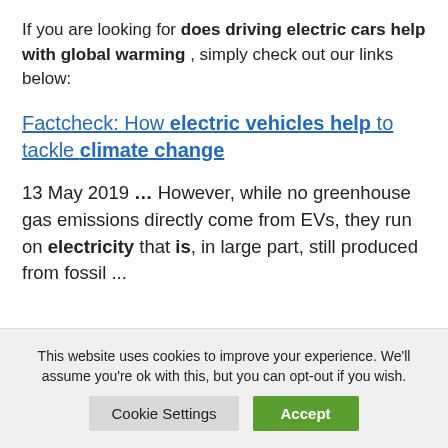If you are looking for does driving electric cars help with global warming , simply check out our links below:
Factcheck: How electric vehicles help to tackle climate change
13 May 2019 … However, while no greenhouse gas emissions directly come from EVs, they run on electricity that is, in large part, still produced from fossil ...
This website uses cookies to improve your experience. We'll assume you're ok with this, but you can opt-out if you wish.